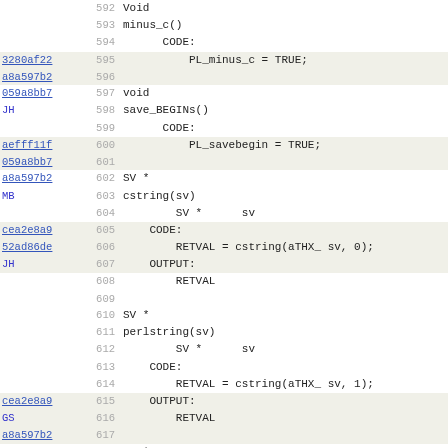Source code listing with line numbers 592-624, showing Perl XS code for functions: Void minus_c(), void save_BEGINs(), SV* cstring(sv), SV* perlstring(sv), SV* cchar(sv)
| link | line | code |
| --- | --- | --- |
|  | 592 | Void |
|  | 593 | minus_c() |
|  | 594 |     CODE: |
| 3280af22 | 595 |         PL_minus_c = TRUE; |
| a8a597b2 | 596 |  |
| 059a8bb7 | 597 | void |
| JH | 598 | save_BEGINs() |
|  | 599 |     CODE: |
| aefff11f | 600 |         PL_savebegin = TRUE; |
| 059a8bb7 | 601 |  |
| a8a597b2 | 602 | SV * |
| MB | 603 | cstring(sv) |
|  | 604 |         SV *      sv |
| cea2e8a9 | 605 |     CODE: |
| 52ad86de | 606 |         RETVAL = cstring(aTHX_ sv, 0); |
| JH | 607 |     OUTPUT: |
|  | 608 |         RETVAL |
|  | 609 |  |
|  | 610 | SV * |
|  | 611 | perlstring(sv) |
|  | 612 |         SV *      sv |
|  | 613 |     CODE: |
|  | 614 |         RETVAL = cstring(aTHX_ sv, 1); |
| cea2e8a9 | 615 |     OUTPUT: |
| GS | 616 |         RETVAL |
| a8a597b2 | 617 |  |
| MB | 618 | SV * |
|  | 619 | cchar(sv) |
|  | 620 |         SV *      sv |
| cea2e8a9 | 621 |     CODE: |
| GS | 622 |         RETVAL = cchar(aTHX_ sv); |
|  | 623 |     OUTPUT: |
|  | 624 |         RETVAL |